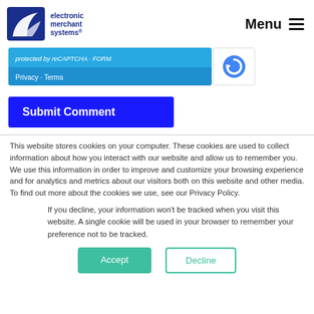electronic merchant systems | Menu
[Figure (screenshot): reCAPTCHA widget bar showing 'protected by reCAPTCHA' text and Privacy - Terms links on blue background, with reCAPTCHA logo on white background]
[Figure (screenshot): Submit Comment button with dark blue background and white bold text]
This website stores cookies on your computer. These cookies are used to collect information about how you interact with our website and allow us to remember you. We use this information in order to improve and customize your browsing experience and for analytics and metrics about our visitors both on this website and other media. To find out more about the cookies we use, see our Privacy Policy.
If you decline, your information won't be tracked when you visit this website. A single cookie will be used in your browser to remember your preference not to be tracked.
[Figure (screenshot): Accept and Decline buttons for cookie consent. Accept is teal/green filled, Decline is teal/green outlined.]